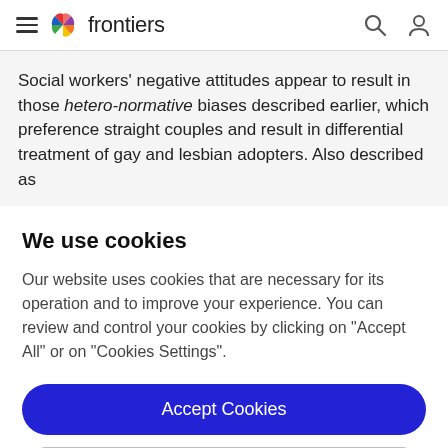frontiers
Social workers' negative attitudes appear to result in those hetero-normative biases described earlier, which preference straight couples and result in differential treatment of gay and lesbian adopters. Also described as
We use cookies
Our website uses cookies that are necessary for its operation and to improve your experience. You can review and control your cookies by clicking on "Accept All" or on "Cookies Settings".
Accept Cookies
Cookies Settings